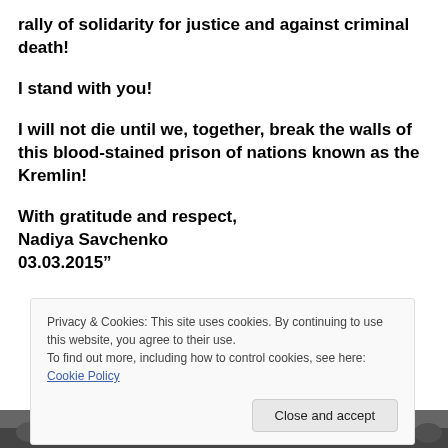rally of solidarity for justice and against criminal death!
I stand with you!
I will not die until we, together, break the walls of this blood-stained prison of nations known as the Kremlin!
With gratitude and respect,
Nadiya Savchenko
03.03.2015"
Privacy & Cookies: This site uses cookies. By continuing to use this website, you agree to their use.
To find out more, including how to control cookies, see here: Cookie Policy
[Figure (photo): Crowd of people at a rally, partially visible at the bottom of the page]